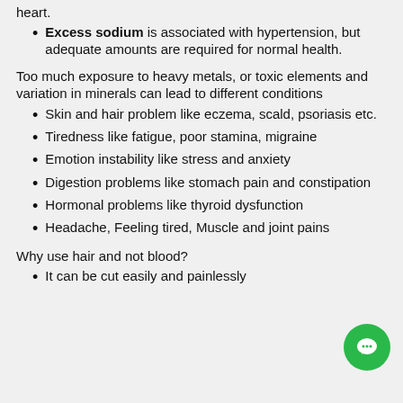Excess sodium is associated with hypertension, but adequate amounts are required for normal health.
Too much exposure to heavy metals, or toxic elements and variation in minerals can lead to different conditions
Skin and hair problem like eczema, scald, psoriasis etc.
Tiredness like fatigue, poor stamina, migraine
Emotion instability like stress and anxiety
Digestion problems like stomach pain and constipation
Hormonal problems like thyroid dysfunction
Headache, Feeling tired, Muscle and joint pains
Why use hair and not blood?
It can be cut easily and painlessly